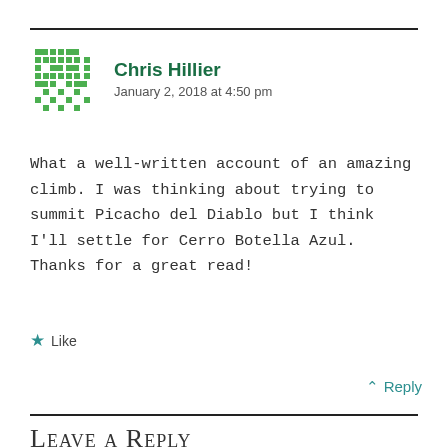Chris Hillier
January 2, 2018 at 4:50 pm
What a well-written account of an amazing climb. I was thinking about trying to summit Picacho del Diablo but I think I'll settle for Cerro Botella Azul. Thanks for a great read!
Like
↑ Reply
Leave a Reply
Your email address will not be published. Required fields are marked *